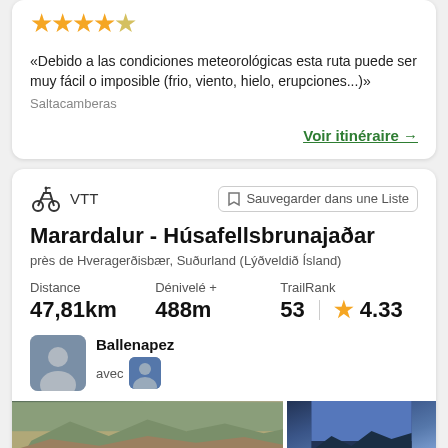[Figure (other): Star rating: 4.5 out of 5 stars (golden stars)]
«Debido a las condiciones meteorológicas esta ruta puede ser muy fácil o imposible (frio, viento, hielo, erupciones...)»
Saltacamberas
Voir itinéraire →
VTT
Sauvegarder dans une Liste
Marardalur - Húsafellsbrunajaðar
près de Hveragerðisbær, Suðurland (Lýðveldið Ísland)
Distance
47,81km
Dénivelé +
488m
TrailRank
53 | ★ 4.33
Ballenapez
avec
[Figure (photo): Landscape mountain photo (left)]
[Figure (photo): Landscape photo with blue sky (right)]